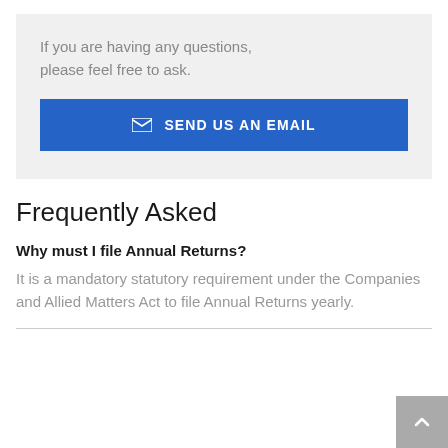If you are having any questions, please feel free to ask.
✉ SEND US AN EMAIL
Frequently Asked
Why must I file Annual Returns?
It is a mandatory statutory requirement under the Companies and Allied Matters Act to file Annual Returns yearly.